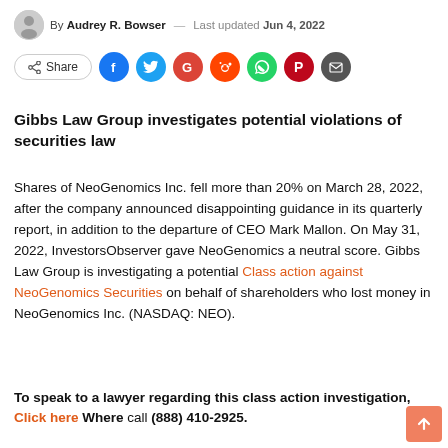By Audrey R. Bowser — Last updated Jun 4, 2022
[Figure (infographic): Social share bar with Share button and icons for Facebook, Twitter, Google, Reddit, WhatsApp, Pinterest, Email]
Gibbs Law Group investigates potential violations of securities law
Shares of NeoGenomics Inc. fell more than 20% on March 28, 2022, after the company announced disappointing guidance in its quarterly report, in addition to the departure of CEO Mark Mallon. On May 31, 2022, InvestorsObserver gave NeoGenomics a neutral score. Gibbs Law Group is investigating a potential Class action against NeoGenomics Securities on behalf of shareholders who lost money in NeoGenomics Inc. (NASDAQ: NEO).
To speak to a lawyer regarding this class action investigation, Click here Where call (888) 410-2925.